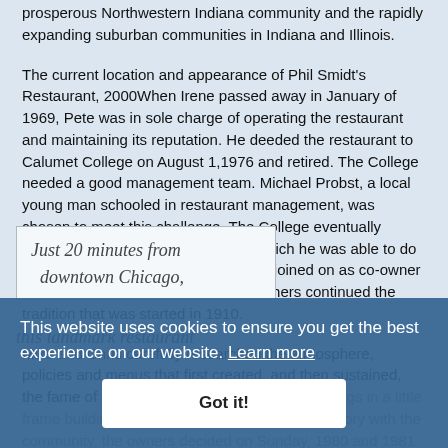prosperous Northwestern Indiana community and the rapidly expanding suburban communities in Indiana and Illinois.
The current location and appearance of Phil Smidt's Restaurant, 2000When Irene passed away in January of 1969, Pete was in sole charge of operating the restaurant and maintaining its reputation. He deeded the restaurant to Calumet College on August 1,1976 and retired. The College needed a good management team. Michael Probst, a local young man schooled in restaurant management, was chosen to meet this challenge. The College eventually wanted Mike to buy the restaurant, which he was able to do on September 29, 1980. Chris Probst joined on as co-owner shortly afterwards and the Probst brothers continued the tradition that was started in 1910.
Mike and Chris carefully researched the atmosphere, policies and menus that first created, and then sustained, the fame of Phil Smidt's from its humble beginnings in a little frame building on Wolf Lake. To celebrate its history with the community, the owners decided on Sunday, 1980 and 1981 to offer 1930 prices commemorating the 70th and 71st anniversaries of the restaurant's opening.
Just 20 minutes from downtown Chicago,
this landmark restaurant
This website uses cookies to ensure you get the best experience on our website. Learn more
Got it!